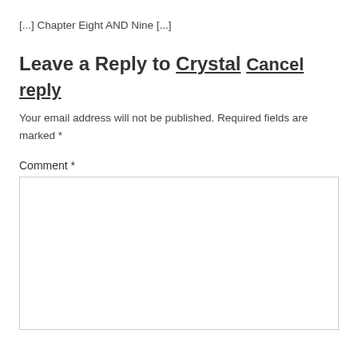[...] Chapter Eight AND Nine [...]
Leave a Reply to Crystal Cancel reply
Your email address will not be published. Required fields are marked *
Comment *
[Figure (other): Empty comment text area input box with light gray border]